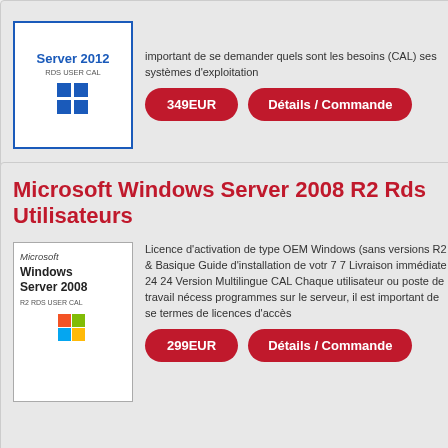[Figure (other): Windows Server 2012 RDS USER CAL product box image with blue border and Windows logo]
important de se demander quels sont les besoins (CAL) ses systèmes d'exploitation
349EUR
Détails / Commande
Microsoft Windows Server 2008 R2 Rds Utilisateurs
[Figure (other): Microsoft Windows Server 2008 R2 RDS USER CAL product box image with Microsoft logo and Windows flag logo]
Licence d'activation de type OEM Windows (sans versions R2 & Basique Guide d'installation de votre 7 7 Livraison immédiate 24 24 Version Multilingue CAL Chaque utilisateur ou poste de travail nécess programmes sur le serveur, il est important de se termes de licences d'accès
299EUR
Détails / Commande